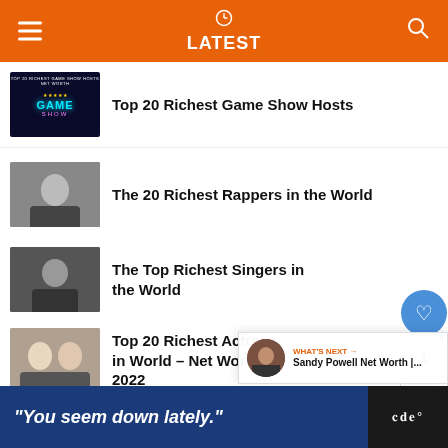LATEST
Top 20 Richest Game Show Hosts
The 20 Richest Rappers in the World
The Top Richest Singers in the World
Top 20 Richest Actress in World – Net Worth in 2022
Top 20 Richest Comedian On The Planet That Are Highly Paid
WHAT'S NEXT → Sandy Powell Net Worth |...
"You seem down lately."